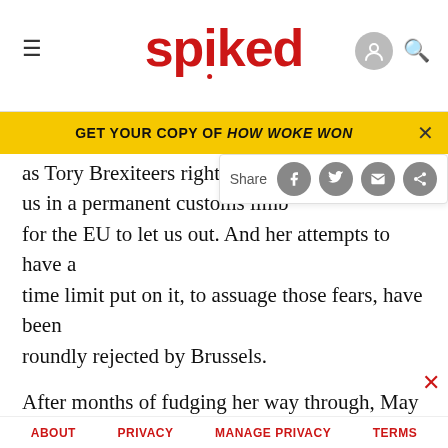spiked
GET YOUR COPY OF HOW WOKE WON
as Tory Brexiteers rightly point us in a permanent customs limbo for the EU to let us out. And her attempts to have a time limit put on it, to assuage those fears, have been roundly rejected by Brussels.
After months of fudging her way through, May now has to make a choice: either she defies the DUP and kicks the feet out from under her own government, she defies the Eurosceptics in her party and sparks a Cabinet and backbench revolt, or she defies the EU
ABOUT   PRIVACY   MANAGE PRIVACY   TERMS